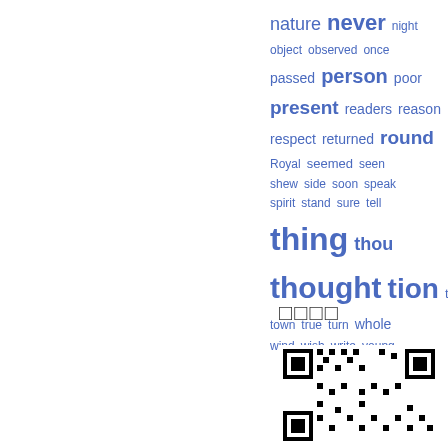[Figure (infographic): Word cloud with words of varying sizes in blue: nature, never (large), night, object, observed, once, passed, person (large), poor, present, readers, reason, respect, returned, round (large), Royal, seemed, seen, shew, side, soon, speak, spirit, stand, sure, tell, thing (very large), thou, thought (very large), tion (very large), took, town, true, turn, whole, wind, wish, write, young]
□□□□
[Figure (other): QR code image in bottom right area]